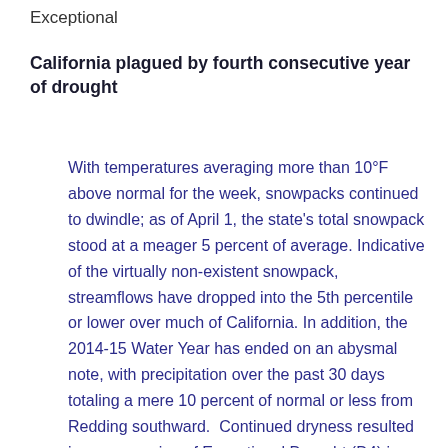Exceptional
California plagued by fourth consecutive year of drought
With temperatures averaging more than 10°F above normal for the week, snowpacks continued to dwindle; as of April 1, the state's total snowpack stood at a meager 5 percent of average. Indicative of the virtually non-existent snowpack, streamflows have dropped into the 5th percentile or lower over much of California. In addition, the 2014-15 Water Year has ended on an abysmal note, with precipitation over the past 30 days totaling a mere 10 percent of normal or less from Redding southward.  Continued dryness resulted in an expansion of Exceptional Drought (D4) in northwest California. [Source: U.S. Drought Monitor]